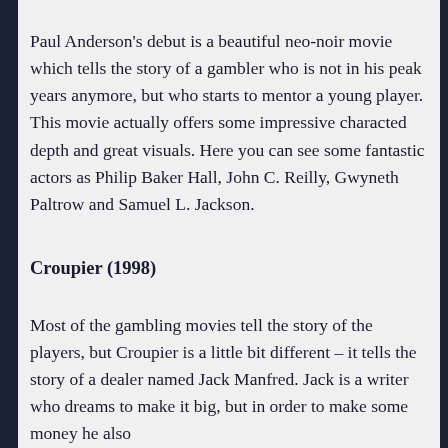Paul Anderson's debut is a beautiful neo-noir movie which tells the story of a gambler who is not in his peak years anymore, but who starts to mentor a young player. This movie actually offers some impressive characted depth and great visuals. Here you can see some fantastic actors as Philip Baker Hall, John C. Reilly, Gwyneth Paltrow and Samuel L. Jackson.
Croupier (1998)
Most of the gambling movies tell the story of the players, but Croupier is a little bit different – it tells the story of a dealer named Jack Manfred. Jack is a writer who dreams to make it big, but in order to make some money he also